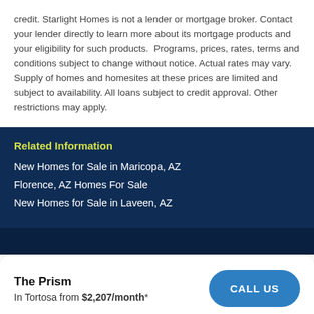credit. Starlight Homes is not a lender or mortgage broker. Contact your lender directly to learn more about its mortgage products and your eligibility for such products.  Programs, prices, rates, terms and conditions subject to change without notice. Actual rates may vary. Supply of homes and homesites at these prices are limited and subject to availability. All loans subject to credit approval. Other restrictions may apply.
Related Information
New Homes for Sale in Maricopa, AZ
Florence, AZ Homes For Sale
New Homes for Sale in Laveen, AZ
The Prism
In Tortosa from $2,207/month*